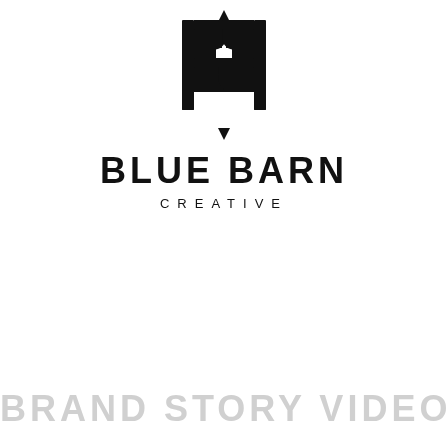[Figure (logo): Blue Barn Creative logo — two interlocking stylized 'B' letters inside a shield/hexagon shape, rendered in black on white background, above the text 'BLUE BARN' and 'CREATIVE']
BRAND STORY VIDEOS